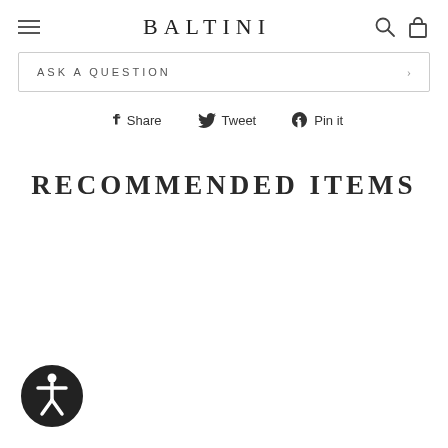BALTINI
ASK A QUESTION
Share  Tweet  Pin it
RECOMMENDED ITEMS
[Figure (logo): Accessibility icon badge — circular black and white symbol with person figure]